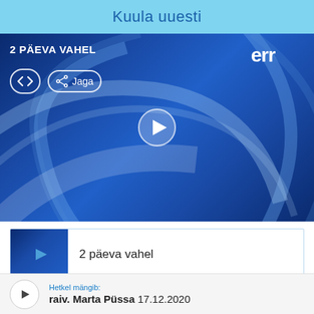Kuula uuesti
[Figure (screenshot): ERR video player showing '2 PÄEVA VAHEL' program with blue abstract background, embed and share buttons, and centered play button]
2 päeva vahel
Hetkel mängib: raiv. Marta Püssa 17.12.2020